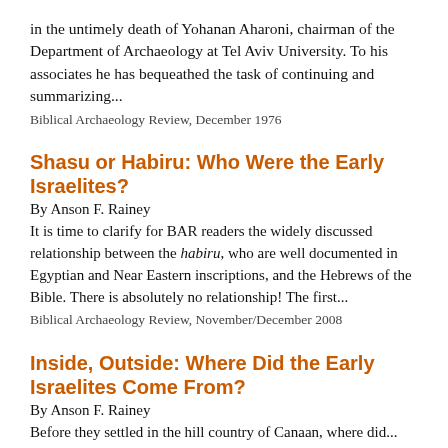in the untimely death of Yohanan Aharoni, chairman of the Department of Archaeology at Tel Aviv University. To his associates he has bequeathed the task of continuing and summarizing...
Biblical Archaeology Review, December 1976
Shasu or Habiru: Who Were the Early Israelites?
By Anson F. Rainey
It is time to clarify for BAR readers the widely discussed relationship between the habiru, who are well documented in Egyptian and Near Eastern inscriptions, and the Hebrews of the Bible. There is absolutely no relationship! The first...
Biblical Archaeology Review, November/December 2008
Inside, Outside: Where Did the Early Israelites Come From?
By Anson F. Rainey
Before they settled in the hill country of Canaan, where did...